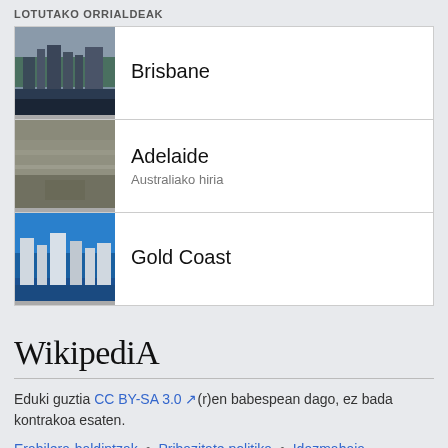LOTUTAKO ORRIALDEAK
Brisbane
Adelaide
Australiako hiria
Gold Coast
[Figure (logo): Wikipedia logo wordmark in serif font]
Eduki guztia CC BY-SA 3.0 (r)en babespean dago, ez bada kontrakoa esaten.
Erabilera-baldintzak • Pribazitate politika • Idazmahaia